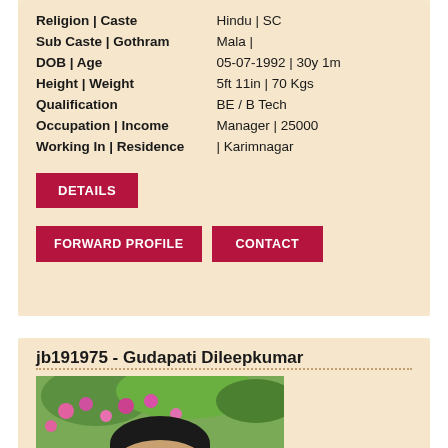| Field | Value |
| --- | --- |
| Religion | Caste | Hindu | SC |
| Sub Caste | Gothram | Mala | |
| DOB | Age | 05-07-1992 | 30y 1m |
| Height | Weight | 5ft 11in | 70 Kgs |
| Qualification | BE / B Tech |
| Occupation | Income | Manager | 25000 |
| Working In | Residence | | Karimnagar |
DETAILS
FORWARD PROFILE
CONTACT
jb191975 - Gudapati Dileepkumar
[Figure (photo): Photo of a man with glasses, outdoor background with flowers and green foliage]